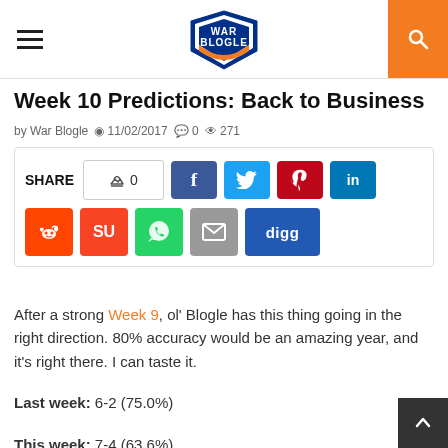War Blogle
Week 10 Predictions: Back to Business
by War Blogle  11/02/2017  0  271
[Figure (infographic): Social share buttons: SHARE count 0, Facebook, Twitter, Pinterest, LinkedIn, Reddit, StumbleUpon, WhatsApp, Email, Digg]
After a strong Week 9, ol' Blogle has this thing going in the right direction. 80% accuracy would be an amazing year, and it's right there. I can taste it.
Last week: 6-2 (75.0%)
This week: 7-4 (63.6%)
Overall: 80-26 (75.5%)
After two bye-heavy weeks, we're back to business in the